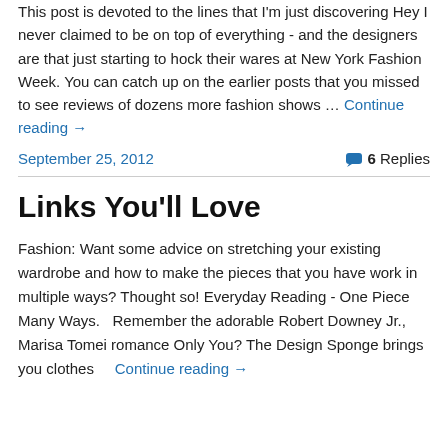This post is devoted to the lines that I'm just discovering Hey I never claimed to be on top of everything - and the designers are that just starting to hock their wares at New York Fashion Week. You can catch up on the earlier posts that you missed to see reviews of dozens more fashion shows … Continue reading →
September 25, 2012
6 Replies
Links You'll Love
Fashion: Want some advice on stretching your existing wardrobe and how to make the pieces that you have work in multiple ways? Thought so! Everyday Reading - One Piece Many Ways.   Remember the adorable Robert Downey Jr., Marisa Tomei romance Only You? The Design Sponge brings you clothes … Continue reading →